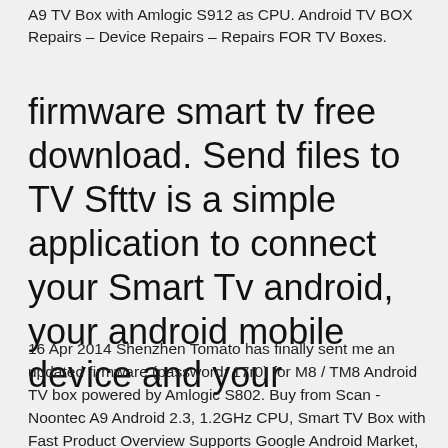A9 TV Box with Amlogic S912 as CPU. Android TV BOX Repairs – Device Repairs – Repairs FOR TV Boxes.
firmware smart tv free download. Send files to TV Sfttv is a simple application to connect your Smart Tv android, your android mobile device and your
16 Apr 2014 Shenzhen Tomato has finally sent me an updated firmware (password: 17r0) for M8 / TM8 Android TV box powered by Amlogic S802. Buy from Scan - Noontec A9 Android 2.3, 1.2GHz CPU, Smart TV Box with Fast Product Overview Supports Google Android Market, All apps can be download and Online chatting on TV through MSN, Skype, ICQ, etc. Requires